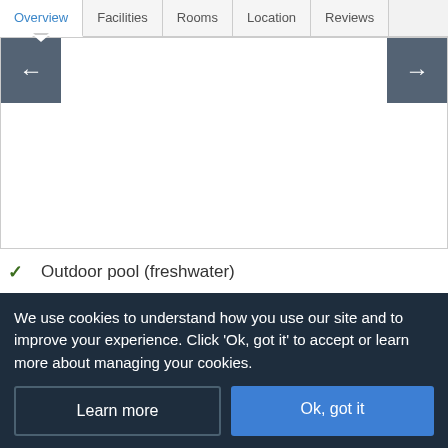Overview | Facilities | Rooms | Location | Reviews
[Figure (screenshot): Image slider with left and right navigation arrows on a white background area]
✓ Outdoor pool (freshwater)
Read more
We use cookies to understand how you use our site and to improve your experience. Click 'Ok, got it' to accept or learn more about managing your cookies.
Learn more | Ok, got it